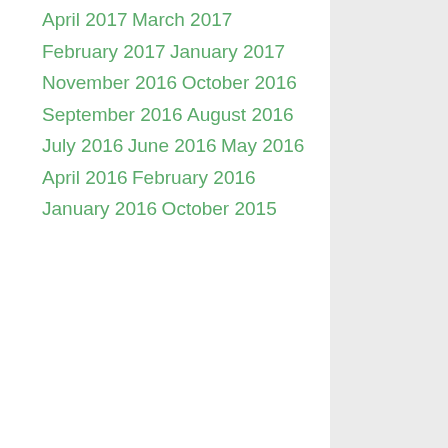April 2017
March 2017
February 2017
January 2017
November 2016
October 2016
September 2016
August 2016
July 2016
June 2016
May 2016
April 2016
February 2016
January 2016
October 2015